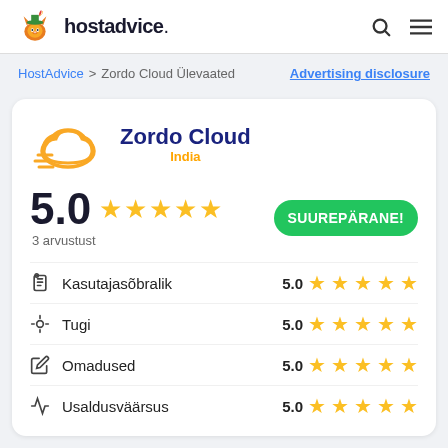hostadvice.
HostAdvice > Zordo Cloud Ülevaated   Advertising disclosure
[Figure (logo): Zordo Cloud logo with cloud icon and text 'Zordo Cloud India']
5.0 ★★★★★ 3 arvustust   SUUREPÄRANE!
Kasutajasõbralik  5.0 ★★★★★
Tugi  5.0 ★★★★★
Omadused  5.0 ★★★★★
Usaldusväärsus  5.0 ★★★★★